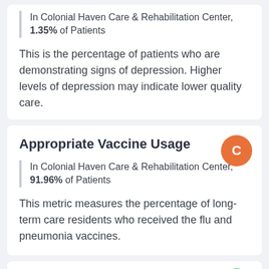In Colonial Haven Care & Rehabilitation Center, 1.35% of Patients
This is the percentage of patients who are demonstrating signs of depression. Higher levels of depression may indicate lower quality care.
Appropriate Vaccine Usage
In Colonial Haven Care & Rehabilitation Center, 91.96% of Patients
This metric measures the percentage of long-term care residents who received the flu and pneumonia vaccines.
Residents Maintain Autonomy